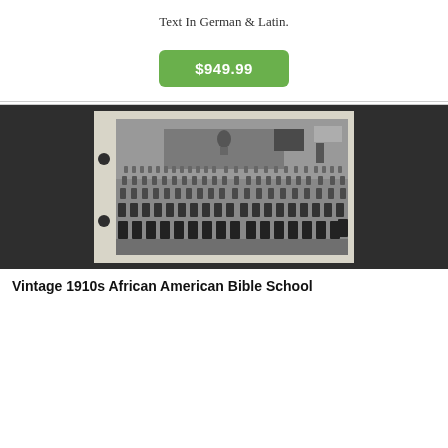Text In German & Latin.
$949.99
[Figure (photo): Black and white photograph mounted on an album page with two punch holes on the left side. Shows a large group of African American students seated in rows inside what appears to be a church or school auditorium, with adults standing at the back near a stage or podium area.]
Vintage 1910s African American Bible School